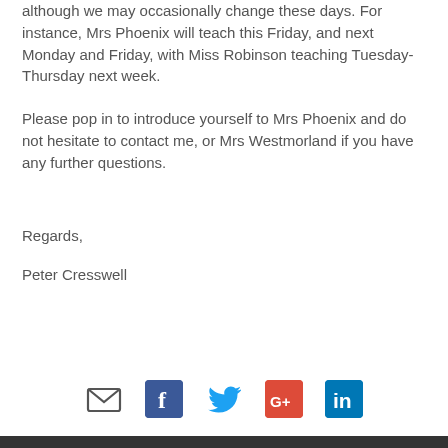although we may occasionally change these days. For instance, Mrs Phoenix will teach this Friday, and next Monday and Friday, with Miss Robinson teaching Tuesday-Thursday next week.
Please pop in to introduce yourself to Mrs Phoenix and do not hesitate to contact me, or Mrs Westmorland if you have any further questions.
Regards,
Peter Cresswell
[Figure (infographic): Social media icons row: email (envelope), Facebook (blue), Twitter (blue bird), Google+ (red), LinkedIn (blue)]